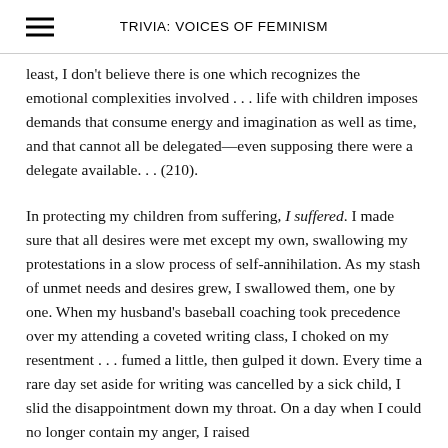TRIVIA: VOICES OF FEMINISM
least, I don't believe there is one which recognizes the emotional complexities involved . . . life with children imposes demands that consume energy and imagination as well as time, and that cannot all be delegated—even supposing there were a delegate available. . . (210).
In protecting my children from suffering, I suffered. I made sure that all desires were met except my own, swallowing my protestations in a slow process of self-annihilation. As my stash of unmet needs and desires grew, I swallowed them, one by one. When my husband's baseball coaching took precedence over my attending a coveted writing class, I choked on my resentment . . . fumed a little, then gulped it down. Every time a rare day set aside for writing was cancelled by a sick child, I slid the disappointment down my throat. On a day when I could no longer contain my anger, I raised